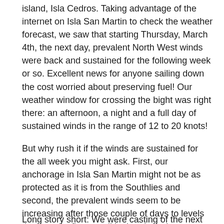island, Isla Cedros. Taking advantage of the internet on Isla San Martin to check the weather forecast, we saw that starting Thursday, March 4th, the next day, prevalent North West winds were back and sustained for the following week or so. Excellent news for anyone sailing down the cost worried about preserving fuel! Our weather window for crossing the bight was right there: an afternoon, a night and a full day of sustained winds in the range of 12 to 20 knots!
But why rush it if the winds are sustained for the all week you might ask. First, our anchorage in Isla San Martin might not be as protected as it is from the Southlies and second, the prevalent winds seem to be increasing after those couple of days to levels that may be fine to sail in, but that, since we had a choice, we'd rather encounter in the reach that offers plenty of protection if needed as opposed to in the middle of bight, which is as "offshore" as our route gets so far.
Long story short: We were casting of the next day for a